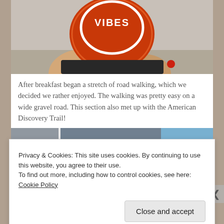[Figure (photo): Person holding an orange mug with 'VIBES' logo/text on it, outdoors on a gravel surface]
After breakfast began a stretch of road walking, which we decided we rather enjoyed. The walking was pretty easy on a wide gravel road. This section also met up with the American Discovery Trail!
[Figure (photo): Partial view of a road or trail scene with blue sky, partially obscured by cookie consent dialog]
Privacy & Cookies: This site uses cookies. By continuing to use this website, you agree to their use.
To find out more, including how to control cookies, see here: Cookie Policy
Close and accept